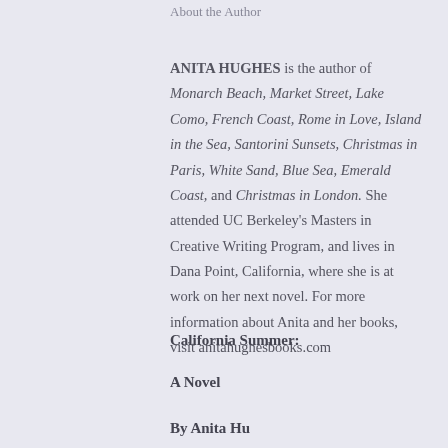About the Author
ANITA HUGHES is the author of Monarch Beach, Market Street, Lake Como, French Coast, Rome in Love, Island in the Sea, Santorini Sunsets, Christmas in Paris, White Sand, Blue Sea, Emerald Coast, and Christmas in London. She attended UC Berkeley's Masters in Creative Writing Program, and lives in Dana Point, California, where she is at work on her next novel. For more information about Anita and her books, visit anitahughesbooks.com
California Summer:
A Novel
By Anita Hughes